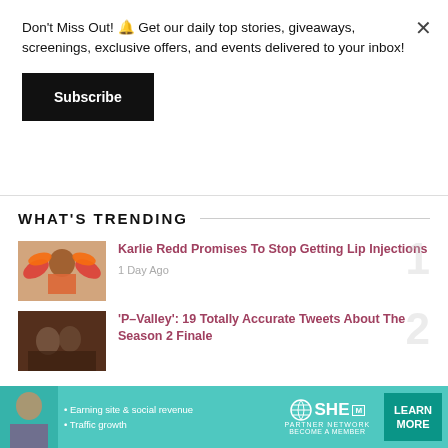Don't Miss Out! 🔔 Get our daily top stories, giveaways, screenings, exclusive offers, and events delivered to your inbox!
Subscribe
WHAT'S TRENDING
[Figure (photo): Woman in orange feathered costume]
Karlie Redd Promises To Stop Getting Lip Injections
1 Day Ago
[Figure (photo): People in a dimly lit scene]
'P-Valley': 19 Totally Accurate Tweets About The Season 2 Finale
[Figure (infographic): SHE Partner Network advertisement banner with woman photo, bullet points about Earning site & social revenue and Traffic growth, SHE logo, and LEARN MORE button]